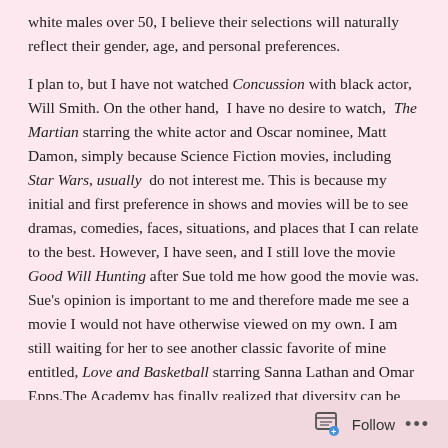white males over 50, I believe their selections will naturally reflect their gender, age, and personal preferences.
I plan to, but I have not watched Concussion with black actor, Will Smith. On the other hand, I have no desire to watch, The Martian starring the white actor and Oscar nominee, Matt Damon, simply because Science Fiction movies, including Star Wars, usually do not interest me. This is because my initial and first preference in shows and movies will be to see dramas, comedies, faces, situations, and places that I can relate to the best. However, I have seen, and I still love the movie Good Will Hunting after Sue told me how good the movie was. Sue's opinion is important to me and therefore made me see a movie I would not have otherwise viewed on my own. I am still waiting for her to see another classic favorite of mine entitled, Love and Basketball starring Sanna Lathan and Omar Epps.The Academy has finally realized that diversity can be best given and best selected when the basis of the selection process includes a wide variety of all ethnic and gender groups.Once again, that old adage still rings true but must be applied without fail, “Together we will stand because divided we have already failed.”
Follow ...